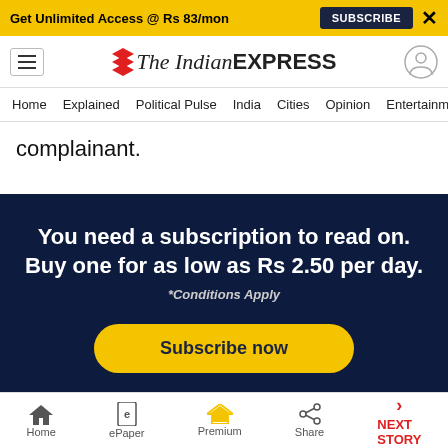Get Unlimited Access @ Rs 83/mon  SUBSCRIBE  X
The Indian EXPRESS — Home | Explained | Political Pulse | India | Cities | Opinion | Entertainment
complainant.
You need a subscription to read on. Buy one for as low as Rs 2.50 per day. *Conditions Apply
Subscribe now
Home  ePaper  Premium  Share  NEXT STORY →